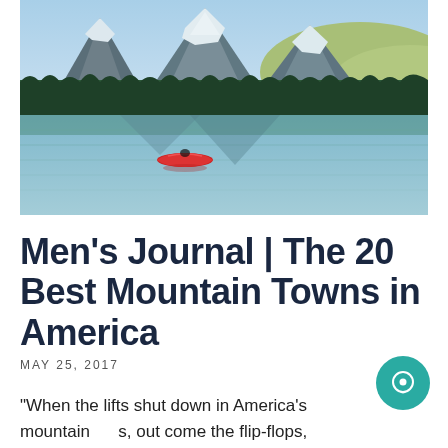[Figure (photo): Mountain lake scene with a red canoe on calm reflective water, evergreen forest and snow-capped peaks in background under a blue sky]
Men's Journal | The 20 Best Mountain Towns in America
MAY 25, 2017
“When the lifts shut down in America’s mountain towns, out come the flip-flops, microbrews, and inner tubes.